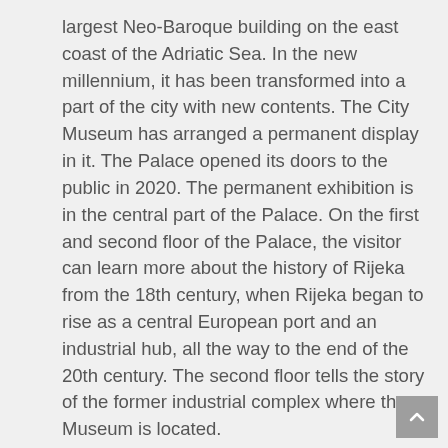largest Neo-Baroque building on the east coast of the Adriatic Sea. In the new millennium, it has been transformed into a part of the city with new contents. The City Museum has arranged a permanent display in it. The Palace opened its doors to the public in 2020. The permanent exhibition is in the central part of the Palace. On the first and second floor of the Palace, the visitor can learn more about the history of Rijeka from the 18th century, when Rijeka began to rise as a central European port and an industrial hub, all the way to the end of the 20th century. The second floor tells the story of the former industrial complex where the Museum is located.